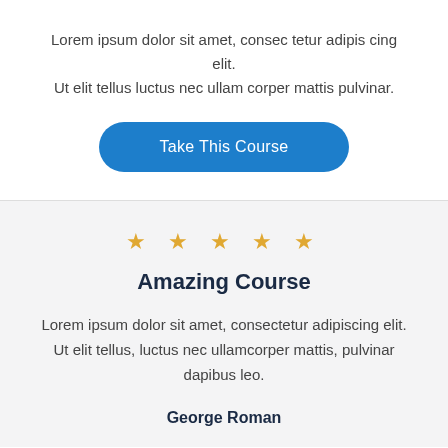Lorem ipsum dolor sit amet, consec tetur adipis cing elit. Ut elit tellus luctus nec ullam corper mattis pulvinar.
[Figure (other): Blue rounded rectangle button with white text reading 'Take This Course']
★ ★ ★ ★ ★
Amazing Course
Lorem ipsum dolor sit amet, consectetur adipiscing elit. Ut elit tellus, luctus nec ullamcorper mattis, pulvinar dapibus leo.
George Roman